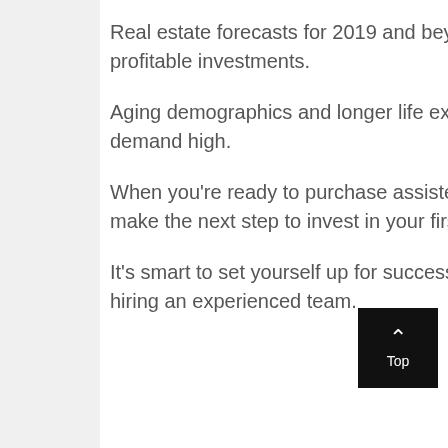Real estate forecasts for 2019 and beyond position senior housing as profitable investments.
Aging demographics and longer life expectancies are expected to keep demand high.
When you're ready to purchase assisted living for sale in your area. And make the next step to invest in your first assisted living facility.
It's smart to set yourself up for success by deligated the workload and hiring an experienced team.